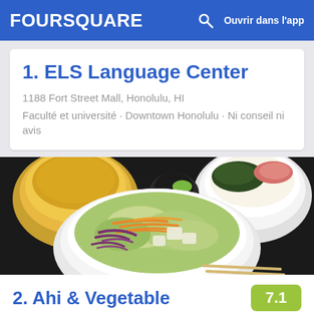FOURSQUARE   Ouvrir dans l'app
1. ELS Language Center
1188 Fort Street Mall, Honolulu, HI
Faculté et université · Downtown Honolulu · Ni conseil ni avis
[Figure (photo): Photo of Japanese/Asian food bowls including salad with shredded carrots, purple cabbage and lettuce in a white bowl, a soup bowl, and a rice bowl with greens and fish on a dark table with chopsticks.]
2. Ahi & Vegetable
7.1